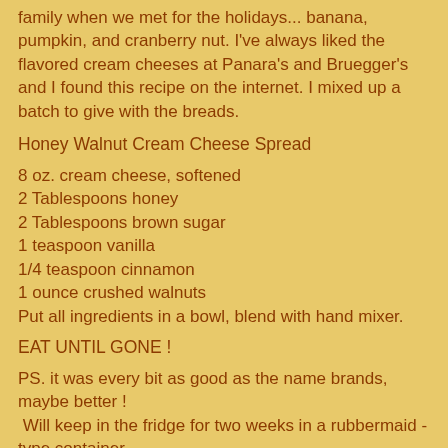family when we met for the holidays... banana, pumpkin, and cranberry nut. I've always liked the flavored cream cheeses at Panara's and Bruegger's and I found this recipe on the internet. I mixed up a batch to give with the breads.
Honey Walnut Cream Cheese Spread
8 oz. cream cheese, softened
2 Tablespoons honey
2 Tablespoons brown sugar
1 teaspoon vanilla
1/4 teaspoon cinnamon
1 ounce crushed walnuts
Put all ingredients in a bowl, blend with hand mixer.
EAT UNTIL GONE !
PS. it was every bit as good as the name brands, maybe better !
 Will keep in the fridge for two weeks in a rubbermaid - type container.